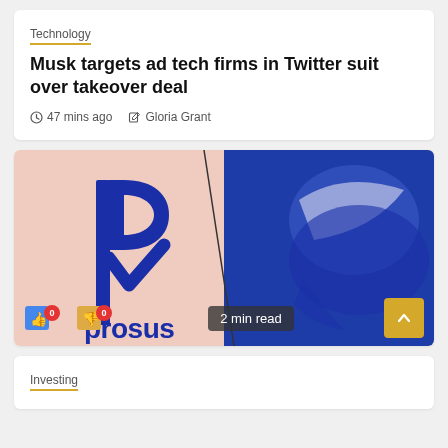Technology
Musk targets ad tech firms in Twitter suit over takeover deal
47 mins ago   Gloria Grant
[Figure (photo): Photo showing the Prosus logo on a pink background on the left, and a blurred Twitter bird logo on a blue background on the right. At the bottom of the image are like/dislike buttons with 0 counts each, a '2 min read' badge, and a yellow scroll-to-top button.]
Investing